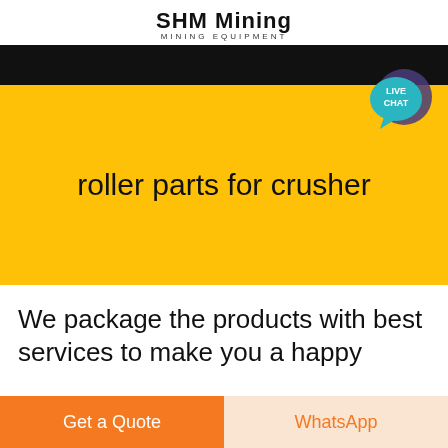SHM Mining
MINING EQUIPMENT
[Figure (screenshot): Yellow hero banner with black top bar, showing search query text 'roller parts for crusher' in large font on yellow background. A live chat bubble widget appears in the top right corner.]
roller parts for crusher
We package the products with best services to make you a happy
Get a Quote
WhatsApp